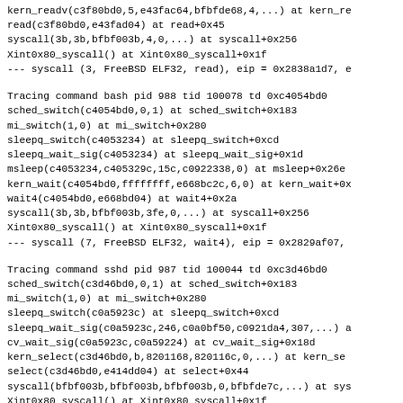kern_readv(c3f80bd0,5,e43fac64,bfbfde68,4,...) at kern_re
read(c3f80bd0,e43fad04) at read+0x45
syscall(3b,3b,bfbf003b,4,0,...) at syscall+0x256
Xint0x80_syscall() at Xint0x80_syscall+0x1f
--- syscall (3, FreeBSD ELF32, read), eip = 0x2838a1d7, e
Tracing command bash pid 988 tid 100078 td 0xc4054bd0
sched_switch(c4054bd0,0,1) at sched_switch+0x183
mi_switch(1,0) at mi_switch+0x280
sleepq_switch(c4053234) at sleepq_switch+0xcd
sleepq_wait_sig(c4053234) at sleepq_wait_sig+0x1d
msleep(c4053234,c405329c,15c,c0922338,0) at msleep+0x26e
kern_wait(c4054bd0,ffffffff,e668bc2c,6,0) at kern_wait+0x
wait4(c4054bd0,e668bd04) at wait4+0x2a
syscall(3b,3b,bfbf003b,3fe,0,...) at syscall+0x256
Xint0x80_syscall() at Xint0x80_syscall+0x1f
--- syscall (7, FreeBSD ELF32, wait4), eip = 0x2829af07,
Tracing command sshd pid 987 tid 100044 td 0xc3d46bd0
sched_switch(c3d46bd0,0,1) at sched_switch+0x183
mi_switch(1,0) at mi_switch+0x280
sleepq_switch(c0a5923c) at sleepq_switch+0xcd
sleepq_wait_sig(c0a5923c,246,c0a0bf50,c0921da4,307,...) a
cv_wait_sig(c0a5923c,c0a59224) at cv_wait_sig+0x18d
kern_select(c3d46bd0,b,8201168,820116c,0,...) at kern_se
select(c3d46bd0,e414dd04) at select+0x44
syscall(bfbf003b,bfbf003b,bfbf003b,0,bfbfde7c,...) at sys
Xint0x80_syscall() at Xint0x80_syscall+0x1f
--- syscall (93, FreeBSD ELF32, select), eip = 0x2838a157